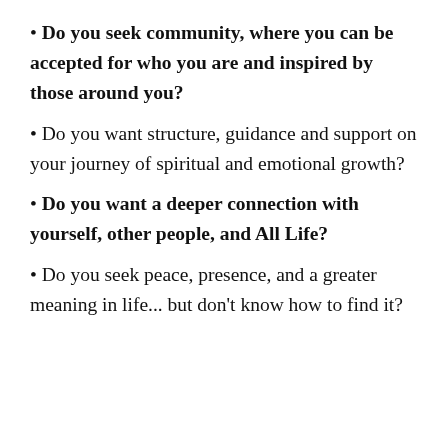Do you seek community, where you can be accepted for who you are and inspired by those around you?
Do you want structure, guidance and support on your journey of spiritual and emotional growth?
Do you want a deeper connection with yourself, other people, and All Life?
Do you seek peace, presence, and a greater meaning in life... but don't know how to find it?